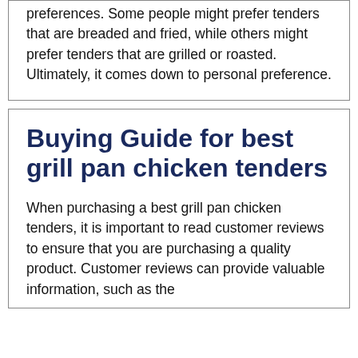preferences. Some people might prefer tenders that are breaded and fried, while others might prefer tenders that are grilled or roasted. Ultimately, it comes down to personal preference.
Buying Guide for best grill pan chicken tenders
When purchasing a best grill pan chicken tenders, it is important to read customer reviews to ensure that you are purchasing a quality product. Customer reviews can provide valuable information, such as the